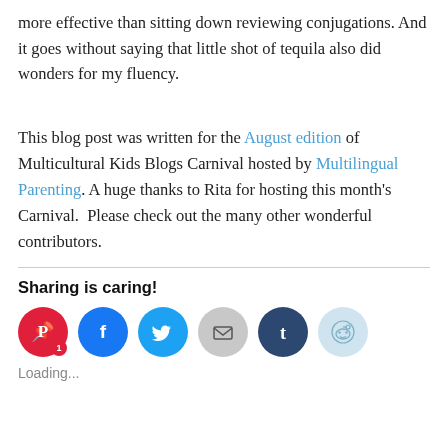more effective than sitting down reviewing conjugations. And it goes without saying that little shot of tequila also did wonders for my fluency.
This blog post was written for the August edition of Multicultural Kids Blogs Carnival hosted by Multilingual Parenting. A huge thanks to Rita for hosting this month's Carnival.  Please check out the many other wonderful contributors.
Sharing is caring!
[Figure (other): Row of social media share buttons: Pinterest (with badge showing 1), Facebook, Twitter, Email, Tumblr, Reddit]
Loading...